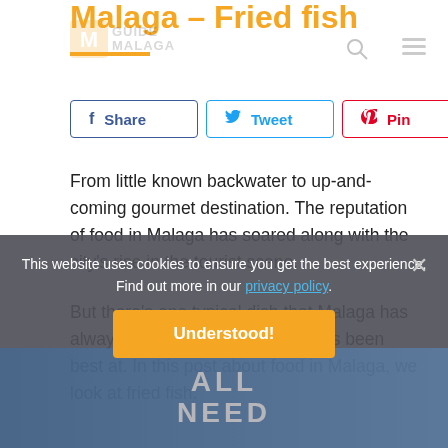Malaga – Fried fish
[Figure (logo): Guide Malaga logo watermark]
Share    Tweet    Pin
From little known backwater to up-and-coming gourmet destination. The reputation of food in Malaga has soared along with the city's rise in the tourist scene.
But there's one typical dish that Malaga has always been known for and always been best at. In this post about food in Malaga, we look at fried fish.
This website uses cookies to ensure you get the best experience. Find out more in our privacy policy.
Understood!